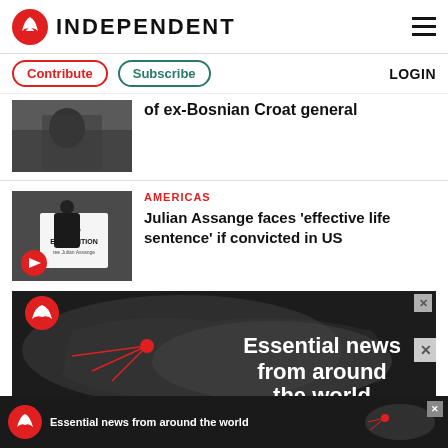INDEPENDENT
Contribute | Subscribe | LOGIN
of ex-Bosnian Croat general
AMERICAS
Julian Assange faces 'effective life sentence' if convicted in US
[Figure (photo): Advertisement banner: Independent logo with world map, text 'Essential news from around the world']
[Figure (photo): Bottom ad bar: Independent logo with text 'Essential news from around the world']